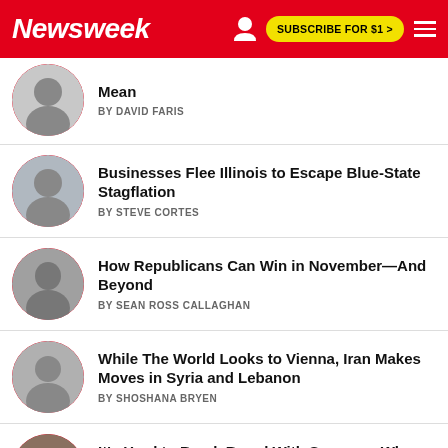Newsweek | SUBSCRIBE FOR $1 >
Mean
BY DAVID FARIS
Businesses Flee Illinois to Escape Blue-State Stagflation
BY STEVE CORTES
How Republicans Can Win in November—And Beyond
BY SEAN ROSS CALLAGHAN
While The World Looks to Vienna, Iran Makes Moves in Syria and Lebanon
BY SHOSHANA BRYEN
It's Hard to Break Bread With Someone When You Don't Have Any
BY DEVAL PATRICK